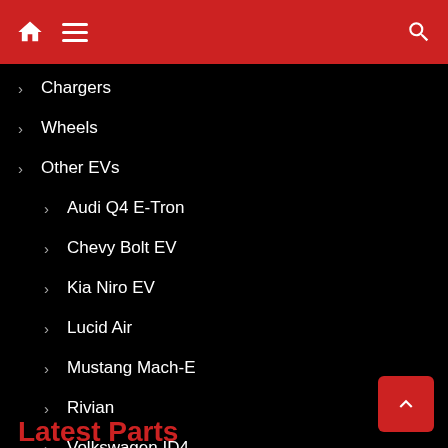Navigation header with home, menu, and search icons
> Chargers
> Wheels
> Other EVs
> Audi Q4 E-Tron
> Chevy Bolt EV
> Kia Niro EV
> Lucid Air
> Mustang Mach-E
> Rivian
> Volkswagen ID4
Latest Parts